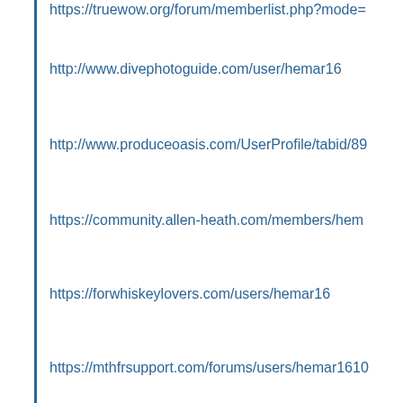https://truewow.org/forum/memberlist.php?mode=
http://www.divephotoguide.com/user/hemar16
http://www.produceoasis.com/UserProfile/tabid/89
https://community.allen-heath.com/members/hem
https://forwhiskeylovers.com/users/hemar16
https://mthfrsupport.com/forums/users/hemar1610
https://puremtgo.com/users/hemar16
https://www.businesslistings.net.au/education/NT/
https://www.pintradingdb.com/forum/member.php
https://www.projectmanagement.com/profile/hema
https://www.thelion.com/bin/profile.cgi?ru_name=
https://www.pixiv.net/en/users/71080371
http://bed-status.com/UserProfile/tabid/158/userlo